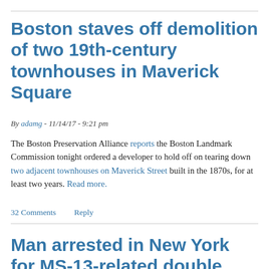Boston staves off demolition of two 19th-century townhouses in Maverick Square
By adamg - 11/14/17 - 9:21 pm
The Boston Preservation Alliance reports the Boston Landmark Commission tonight ordered a developer to hold off on tearing down two adjacent townhouses on Maverick Street built in the 1870s, for at least two years. Read more.
32 Comments
Reply
Man arrested in New York for MS-13-related double shooting at Maverick T…